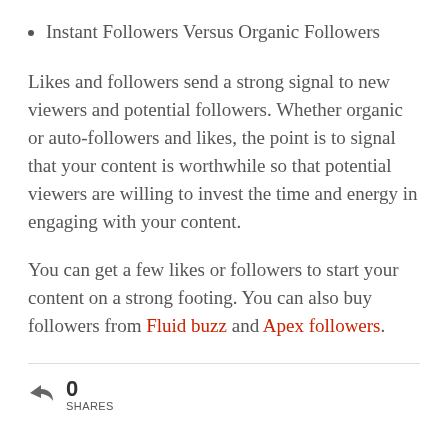Instant Followers Versus Organic Followers
Likes and followers send a strong signal to new viewers and potential followers. Whether organic or auto-followers and likes, the point is to signal that your content is worthwhile so that potential viewers are willing to invest the time and energy in engaging with your content.
You can get a few likes or followers to start your content on a strong footing. You can also buy followers from Fluid buzz and Apex followers.
0 SHARES